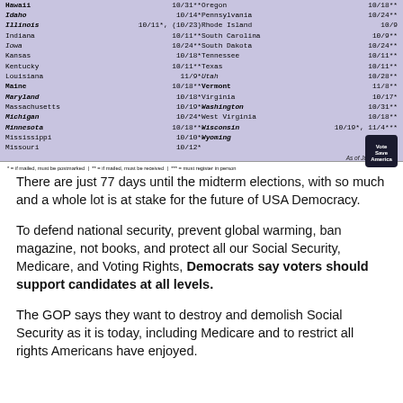[Figure (table-as-image): Voter registration deadlines by state table with purple background, showing states from Hawaii to Missouri on left column and Oregon to Wyoming on right column with dates and footnote markers. Includes footnotes and Vote Save America logo.]
There are just 77 days until the midterm elections, with so much and a whole lot is at stake for the future of USA Democracy.
To defend national security, prevent global warming, ban magazine, not books, and protect all our Social Security, Medicare, and Voting Rights, Democrats say voters should support candidates at all levels.
The GOP says they want to destroy and demolish Social Security as it is today, including Medicare and to restrict all rights Americans have enjoyed.